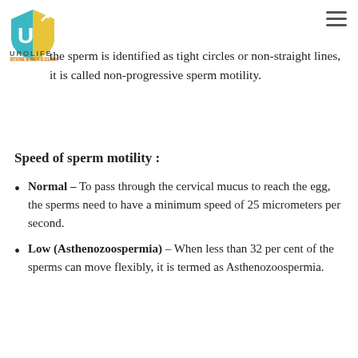UROLIFE STONE & MEN'S CLINIC
the sperm is identified as tight circles or non-straight lines, it is called non-progressive sperm motility.
Speed of sperm motility :
Normal – To pass through the cervical mucus to reach the egg, the sperms need to have a minimum speed of 25 micrometers per second.
Low (Asthenozoospermia) – When less than 32 per cent of the sperms can move flexibly, it is termed as Asthenozoospermia.